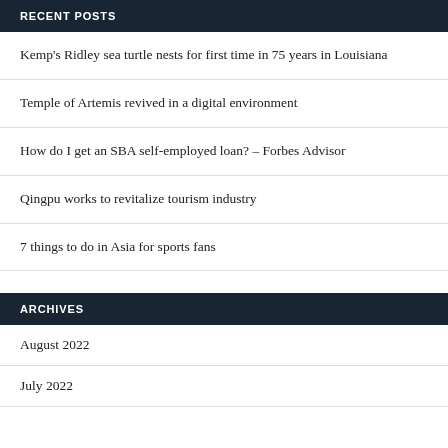RECENT POSTS
Kemp's Ridley sea turtle nests for first time in 75 years in Louisiana
Temple of Artemis revived in a digital environment
How do I get an SBA self-employed loan? – Forbes Advisor
Qingpu works to revitalize tourism industry
7 things to do in Asia for sports fans
ARCHIVES
August 2022
July 2022